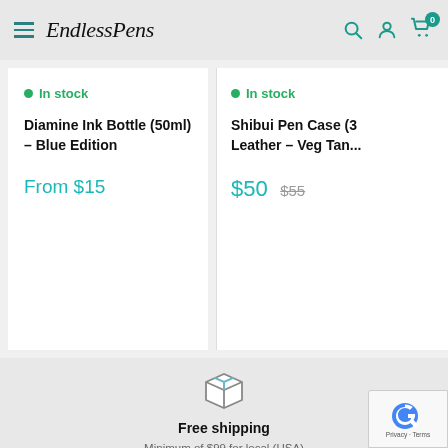Endless Pens
In stock
Diamine Ink Bottle (50ml) – Blue Edition
From $15
In stock
Shibui Pen Case (3... Leather – Veg Tan...
$50  $55
Free shipping
Minimum of $99 for local (USA)
Minimum of $399 for International